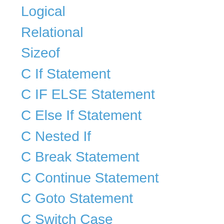Logical
Relational
Sizeof
C If Statement
C IF ELSE Statement
C Else If Statement
C Nested If
C Break Statement
C Continue Statement
C Goto Statement
C Switch Case
C For Loop
C While Loop
C Do While Loop